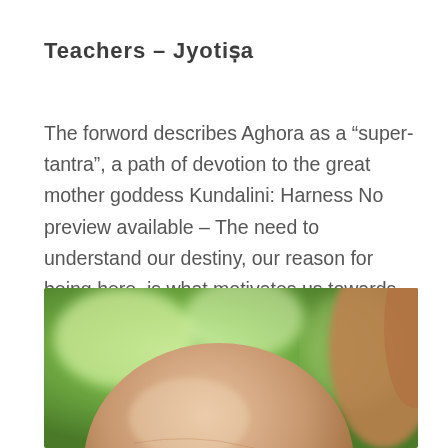Teachers – Jyotiṣa
The forword describes Aghora as a “super-tantra”, a path of devotion to the great mother goddess Kundalini: Harness No preview available – The need to understand our destiny, our reason for being here, is what motivates us towards spiritual growth. I would like to see a book on that.
[Figure (photo): Close-up photograph of a person's shaved head or rounded form against a blurred green outdoor background with warm tones.]